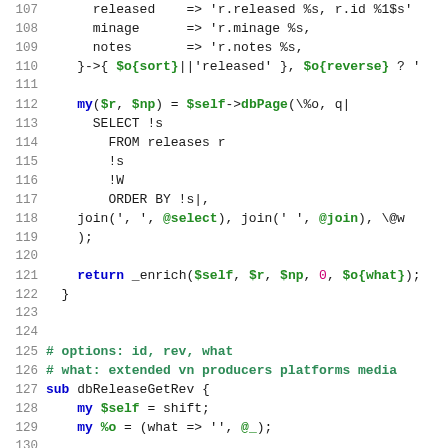Source code listing, lines 107-136, Perl code for database release functions